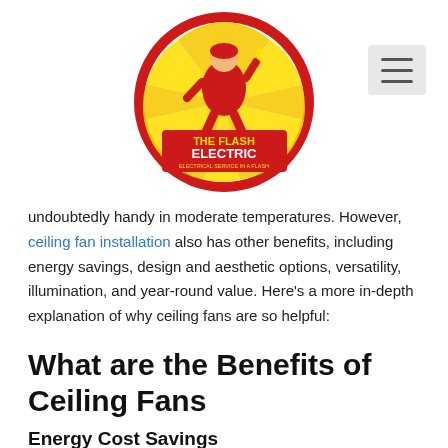[Figure (logo): Flash Electric logo — superhero character in red and yellow suit inside a circular emblem with text 'THE FLASH ELECTRIC — ELECTRICAL SERVICE IN A FLASH']
undoubtedly handy in moderate temperatures. However, ceiling fan installation also has other benefits, including energy savings, design and aesthetic options, versatility, illumination, and year-round value. Here's a more in-depth explanation of why ceiling fans are so helpful:
What are the Benefits of Ceiling Fans
Energy Cost Savings
It is feasible to reduce your electric bill by 30% to 40%. Ceiling fans, on the other hand, do not truly lower the temperature. They provide a draft that makes it feel more relaxed and helps you